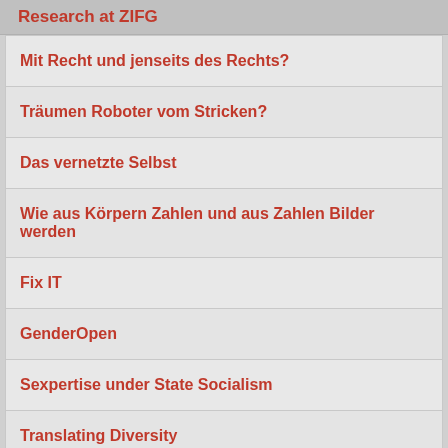Research at ZIFG
Mit Recht und jenseits des Rechts?
Träumen Roboter vom Stricken?
Das vernetzte Selbst
Wie aus Körpern Zahlen und aus Zahlen Bilder werden
Fix IT
GenderOpen
Sexpertise under State Socialism
Translating Diversity
Die Vergesellschaftung der Demenz